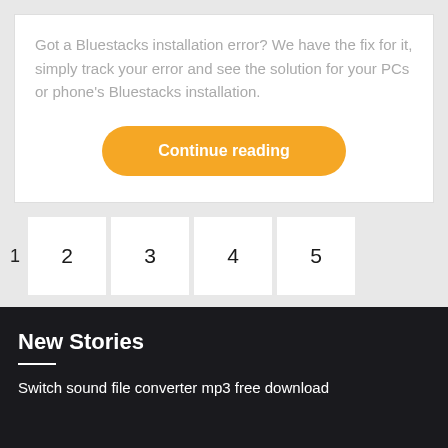Got a Bluestacks installation error? We have the fix for it, simply track your error and see the solution for your PCs or phone's Bluestacks installation.
Continue reading
1
2
3
4
5
New Stories
Switch sound file converter mp3 free download